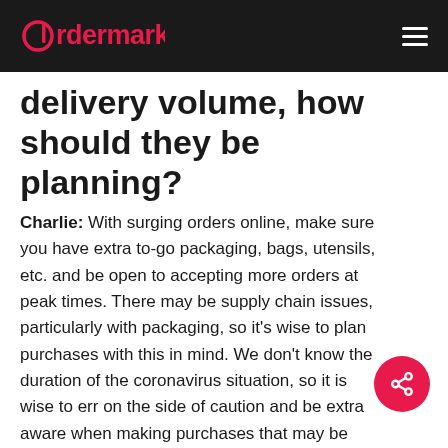Ordermark
delivery volume, how should they be planning?
Charlie: With surging orders online, make sure you have extra to-go packaging, bags, utensils, etc. and be open to accepting more orders at peak times. There may be supply chain issues, particularly with packaging, so it's wise to plan purchases with this in mind. We don't know the duration of the coronavirus situation, so it is wise to err on the side of caution and be extra aware when making purchases that may be impacted by this.